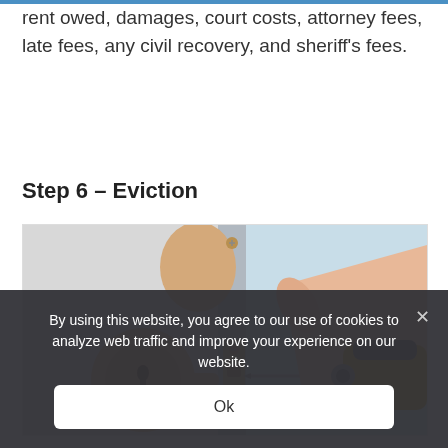rent owed, damages, court costs, attorney fees, late fees, any civil recovery, and sheriff's fees.
Step 6 – Eviction
[Figure (illustration): Illustration of a hand using a power drill to change a door lock/deadbolt, with a door handle visible on the left side.]
By using this website, you agree to our use of cookies to analyze web traffic and improve your experience on our website.